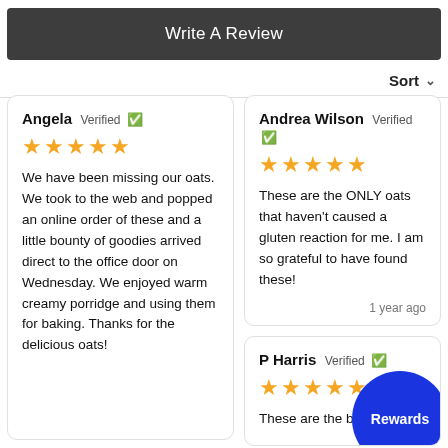Write A Review
Sort
Angela Verified ✓
★★★★★
We have been missing our oats. We took to the web and popped an online order of these and a little bounty of goodies arrived direct to the office door on Wednesday. We enjoyed warm creamy porridge and using them for baking. Thanks for the delicious oats!
Andrea Wilson Verified ✓
★★★★★
These are the ONLY oats that haven't caused a gluten reaction for me. I am so grateful to have found these!
1 year ago
P Harris Verified ✓
★★★★★
These are the best gluten...
Rewards